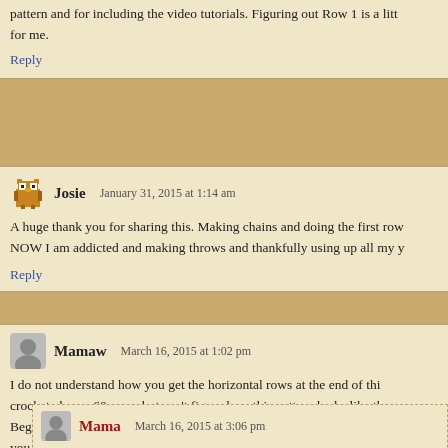pattern and for including the video tutorials. Figuring out Row 1 is a little for me.
Reply
Josie   January 31, 2015 at 1:14 am
A huge thank you for sharing this. Making chains and doing the first row. NOW I am addicted and making throws and thankfully using up all my y
Reply
Mamaw   March 16, 2015 at 1:02 pm
I do not understand how you get the horizontal rows at the end of thi crocheted over 60 years but can't figure how this pattern looks like th Beginning Chain" patterns. Like the others, I'm going to try some othe you....
Reply
Mama   March 16, 2015 at 3:06 pm
It's how I have laid the blanket for the picture. I wanted to demons